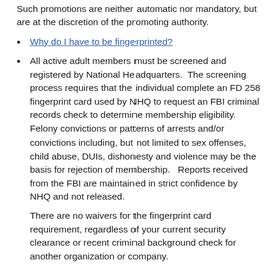Such promotions are neither automatic nor mandatory, but are at the discretion of the promoting authority.
Why do I have to be fingerprinted?
All active adult members must be screened and registered by National Headquarters.  The screening process requires that the individual complete an FD 258 fingerprint card used by NHQ to request an FBI criminal records check to determine membership eligibility.  Felony convictions or patterns of arrests and/or convictions including, but not limited to sex offenses, child abuse, DUIs, dishonesty and violence may be the basis for rejection of membership.   Reports received from the FBI are maintained in strict confidence by NHQ and not released.

There are no waivers for the fingerprint card requirement, regardless of your current security clearance or recent criminal background check for another organization or company.
Do members have to wear a uniform?